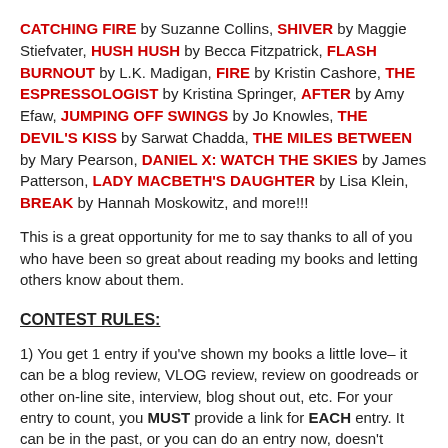CATCHING FIRE by Suzanne Collins, SHIVER by Maggie Stiefvater, HUSH HUSH by Becca Fitzpatrick, FLASH BURNOUT by L.K. Madigan, FIRE by Kristin Cashore, THE ESPRESSOLOGIST by Kristina Springer, AFTER by Amy Efaw, JUMPING OFF SWINGS by Jo Knowles, THE DEVIL'S KISS by Sarwat Chadda, THE MILES BETWEEN by Mary Pearson, DANIEL X: WATCH THE SKIES by James Patterson, LADY MACBETH'S DAUGHTER by Lisa Klein, BREAK by Hannah Moskowitz, and more!!!
This is a great opportunity for me to say thanks to all of you who have been so great about reading my books and letting others know about them.
CONTEST RULES:
1) You get 1 entry if you've shown my books a little love– it can be a blog review, VLOG review, review on goodreads or other on-line site, interview, blog shout out, etc. For your entry to count, you MUST provide a link for EACH entry. It can be in the past, or you can do an entry now, doesn't